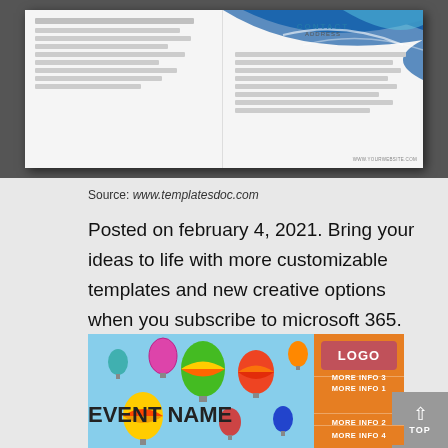[Figure (photo): A brochure template mockup showing an open bi-fold brochure with blue wave design on the right panel, placeholder text on both sides, and a CONTACT ADDRESS heading on the right panel. URL www.yourwebsite.com shown at bottom right.]
Source: www.templatesdoc.com
Posted on february 4, 2021. Bring your ideas to life with more customizable templates and new creative options when you subscribe to microsoft 365.
[Figure (photo): Hot air balloons flying in a blue sky, colorful balloons of various patterns and colors including pink, green, yellow, red, orange stripes.]
LOGO
MORE INFO 1
MORE INFO 2
MORE INFO 3
EVENT NAME
MORE INFO 4